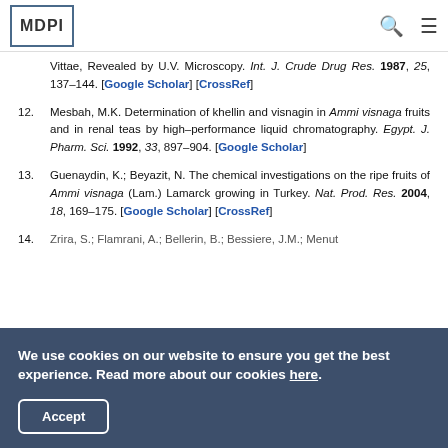MDPI
Vittae, Revealed by U.V. Microscopy. Int. J. Crude Drug Res. 1987, 25, 137–144. [Google Scholar] [CrossRef]
12. Mesbah, M.K. Determination of khellin and visnagin in Ammi visnaga fruits and in renal teas by high–performance liquid chromatography. Egypt. J. Pharm. Sci. 1992, 33, 897–904. [Google Scholar]
13. Guenaydin, K.; Beyazit, N. The chemical investigations on the ripe fruits of Ammi visnaga (Lam.) Lamarck growing in Turkey. Nat. Prod. Res. 2004, 18, 169–175. [Google Scholar] [CrossRef]
14. Zrira, S.; Flamrani, A.; Bellerin, B.; Bessiere, J.M.; Menut...
We use cookies on our website to ensure you get the best experience. Read more about our cookies here.
Accept